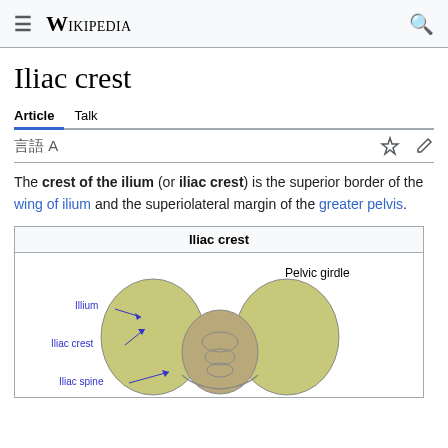Wikipedia
Iliac crest
Article  Talk
The crest of the ilium (or iliac crest) is the superior border of the wing of ilium and the superiolateral margin of the greater pelvis.
[Figure (illustration): Anatomical diagram of the pelvic girdle showing the Ilium, Iliac crest, and Iliac spine labeled with arrows. Caption reads 'Iliac crest' at top and 'Pelvic girdle' label visible.]